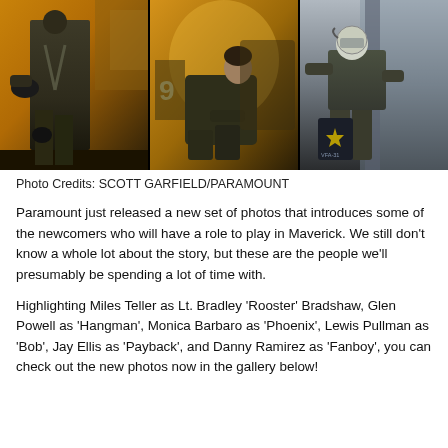[Figure (photo): Three stacked movie still photos side by side: left shows a male actor in olive green flight suit carrying a helmet walking in front of a jet aircraft; center shows a female actor in dark olive jacket seated looking sideways near aircraft with number 9 visible; right shows a male actor in flight suit and helmet sitting on aircraft ladder next to a bag with VFA-31 insignia.]
Photo Credits: SCOTT GARFIELD/PARAMOUNT
Paramount just released a new set of photos that introduces some of the newcomers who will have a role to play in Maverick. We still don't know a whole lot about the story, but these are the people we'll presumably be spending a lot of time with.
Highlighting Miles Teller as Lt. Bradley ‘Rooster’ Bradshaw, Glen Powell as ‘Hangman’, Monica Barbaro as ‘Phoenix’, Lewis Pullman as ‘Bob’, Jay Ellis as ‘Payback’, and Danny Ramirez as ‘Fanboy’, you can check out the new photos now in the gallery below!